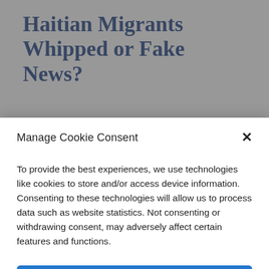Haitian Migrants Whipped or Fake News?
migrant camp near the Del Rio
Manage Cookie Consent
To provide the best experiences, we use technologies like cookies to store and/or access device information. Consenting to these technologies will allow us to process data such as website statistics. Not consenting or withdrawing consent, may adversely affect certain features and functions.
Accept
Cookie Policy   Privacy Policy